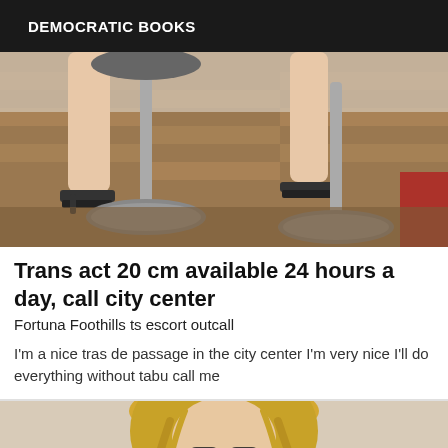DEMOCRATIC BOOKS
[Figure (photo): A photo showing legs and feet wearing strappy heeled sandals standing on a wooden parquet floor near metal bar stools]
Trans act 20 cm available 24 hours a day, call city center
Fortuna Foothills ts escort outcall
I'm a nice tras de passage in the city center I'm very nice I'll do everything without tabu call me
[Figure (photo): A photo of a blonde woman with long hair, partially visible from the top]